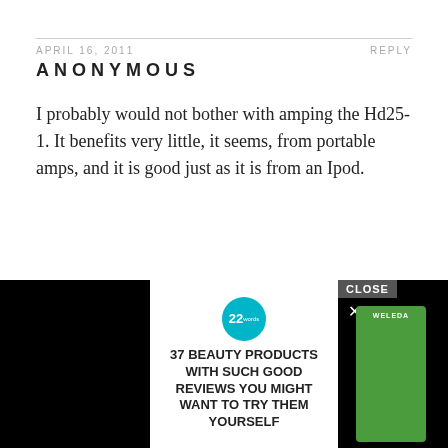APRIL 16, 2011
REPLY
ANONYMOUS
I probably would not bother with amping the Hd25-1. It benefits very little, it seems, from portable amps, and it is good just as it is from an Ipod.
APRIL 16, 2011
REPLY
EAGLE1776
[Figure (screenshot): Advertisement showing beauty products with text '37 BEAUTY PRODUCTS WITH SUCH GOOD REVIEWS YOU MIGHT WANT TO TRY THEM YOURSELF' with a CLOSE button and Weleda product image]